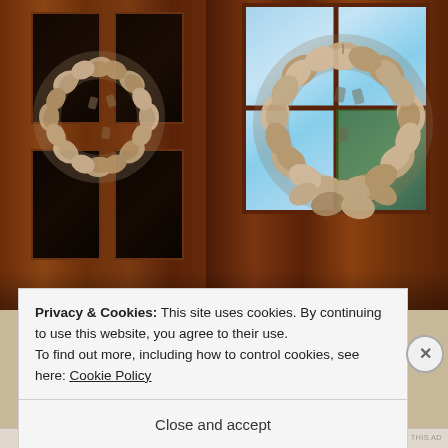[Figure (photo): Two burlap fabric wreaths hanging on dark wooden doors with cross-pane windows. The wreaths are made of twisted and ruffled burlap fabric pieces. The right wreath is larger and closer to camera. Background shows dark mahogany-colored wooden doors and a window reflecting blue sky.]
Privacy & Cookies: This site uses cookies. By continuing to use this website, you agree to their use.
To find out more, including how to control cookies, see here: Cookie Policy
Close and accept